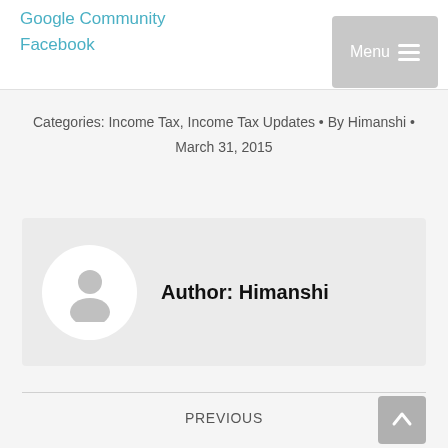Google Community
Facebook
Categories: Income Tax, Income Tax Updates • By Himanshi • March 31, 2015
[Figure (illustration): Author box with avatar placeholder and text 'Author: Himanshi']
PREVIOUS